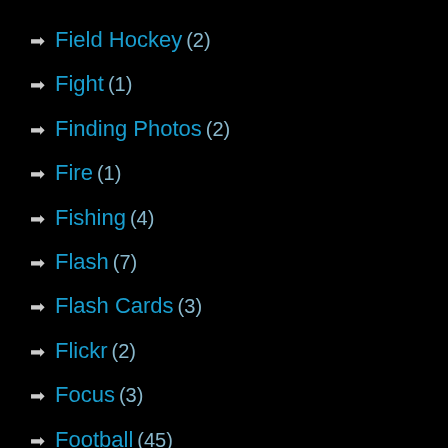Field Hockey (2)
Fight (1)
Finding Photos (2)
Fire (1)
Fishing (4)
Flash (7)
Flash Cards (3)
Flickr (2)
Focus (3)
Football (45)
Fred Stluka (1)
Freedom (4)
Friday Night (4)